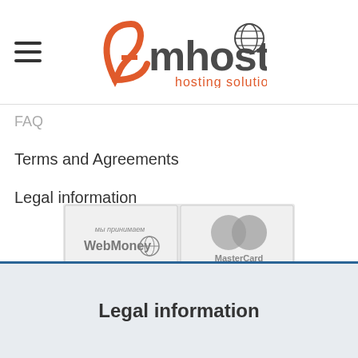[Figure (logo): Amhost hosting solutions logo with red/orange 'A' and globe icon]
FAQ
Terms and Agreements
Legal information
[Figure (infographic): Payment methods: WebMoney, MasterCard, VISA, Bitcoin Accepted Here logos in a 2x2 grid]
Legal information